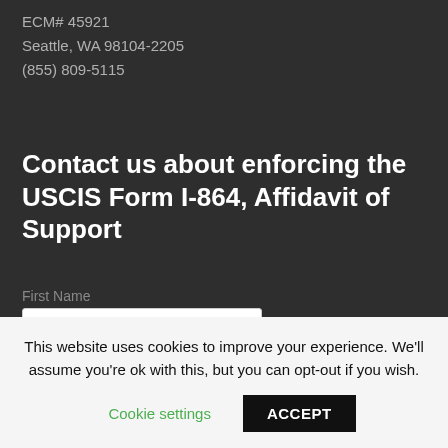ECM# 45921
Seattle, WA 98104-2205
(855) 809-5115
Contact us about enforcing the USCIS Form I-864, Affidavit of Support
First Name
First name
Last Name
This website uses cookies to improve your experience. We'll assume you're ok with this, but you can opt-out if you wish.
Cookie settings
ACCEPT